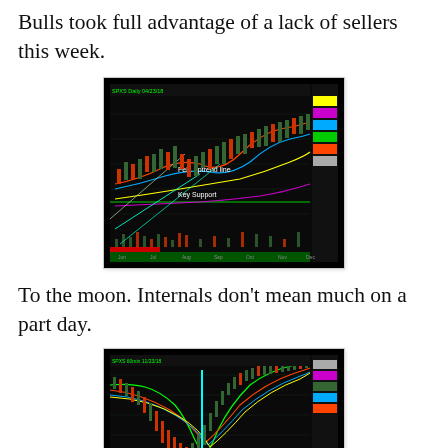Bulls took full advantage of a lack of sellers this week.
[Figure (continuous-plot): Stock market chart with candlesticks, moving averages, trend lines, and volume. Labels include 'Feb. uptrend line' and 'Key Support'. Dark background with colored indicators and price scale on right.]
To the moon.  Internals don't mean much on a part day.
[Figure (continuous-plot): Detailed intraday stock market chart with candlesticks, MACD indicator panel, and stochastic indicator panel at bottom. Dark background with colored moving average lines and green/red highlighted regions.]
The overnight volatility remains very low.  The market is